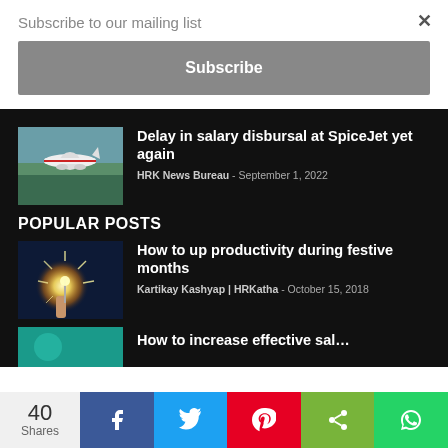Subscribe to our mailing list
Subscribe
Delay in salary disbursal at SpiceJet yet again
HRK News Bureau - September 1, 2022
POPULAR POSTS
How to up productivity during festive months
Kartikay Kashyap | HRKatha - October 15, 2018
How to increase effective salaries
40 Shares